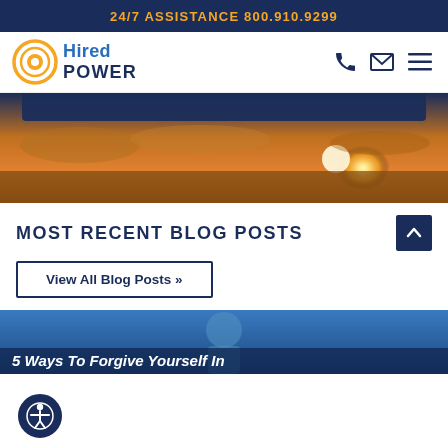24/7 ASSISTANCE 800.910.9299
[Figure (logo): Hired Power logo with circular sun graphic and blue text]
[Figure (photo): Sunset over water/clouds hero image with dark blue banner overlay]
MOST RECENT BLOG POSTS
View All Blog Posts »
[Figure (photo): Blog card image with text: 5 Ways To Forgive Yourself In]
[Figure (illustration): Accessibility widget icon (person in circle)]